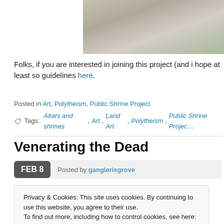[Figure (photo): Partial photo of rocks and stone path with greenery, cropped at top right of page]
Folks, if you are interested in joining this project (and i hope at least so guidelines here.
Posted in Art, Polytheism, Public Shrine Project
Tags: Altars and shrines, Art, Land Art, Polytheism, Public Shrine Project
Venerating the Dead
FEB 8   Posted by ganglerisgrove
Privacy & Cookies: This site uses cookies. By continuing to use this website, you agree to their use.
To find out more, including how to control cookies, see here: Cookie Policy
Close and accept